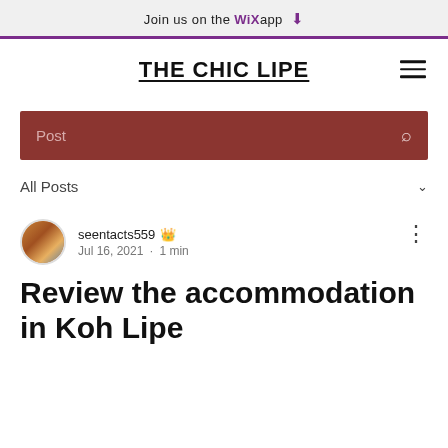Join us on the WiX app ↓
THE CHIC LIPE
Post (search bar)
All Posts
seentacts559 👑
Jul 16, 2021 · 1 min
Review the accommodation in Koh Lipe